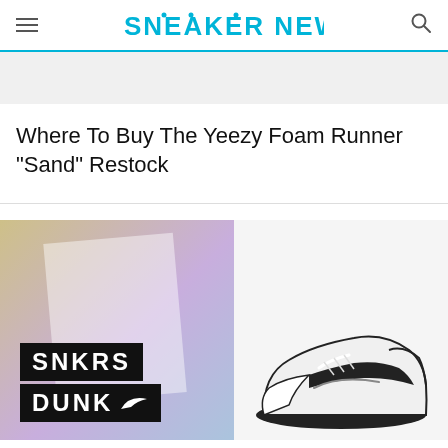SNEAKER NEWS
[Figure (illustration): Gray advertisement banner placeholder]
Where To Buy The Yeezy Foam Runner “Sand” Restock
[Figure (photo): Left: SNKRS DUNK Nike logo image on gradient background. Right: Black and white Nike Dunk sneaker on light gray background.]